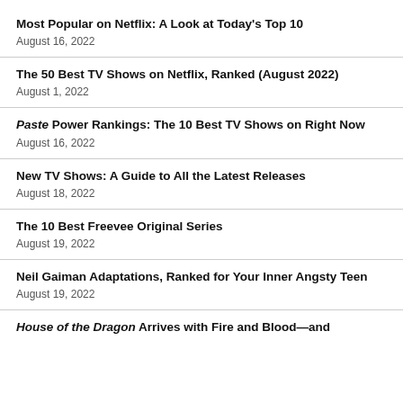Most Popular on Netflix: A Look at Today's Top 10
August 16, 2022
The 50 Best TV Shows on Netflix, Ranked (August 2022)
August 1, 2022
Paste Power Rankings: The 10 Best TV Shows on Right Now
August 16, 2022
New TV Shows: A Guide to All the Latest Releases
August 18, 2022
The 10 Best Freevee Original Series
August 19, 2022
Neil Gaiman Adaptations, Ranked for Your Inner Angsty Teen
August 19, 2022
House of the Dragon Arrives with Fire and Blood—and